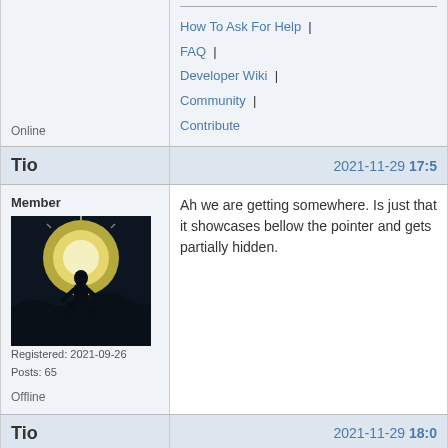Online
How To Ask For Help | FAQ | Developer Wiki | Community | Contribute
Tio
2021-11-29 17:5...
Member
[Figure (photo): Dark silhouette of a person crouching against a bright backlit sky]
Registered: 2021-09-26
Posts: 65
Ah we are getting somewhere. Is just that it showcases bellow the pointer and gets partially hidden.
Offline
Tio
2021-11-29 18:0...
Member
Oh and